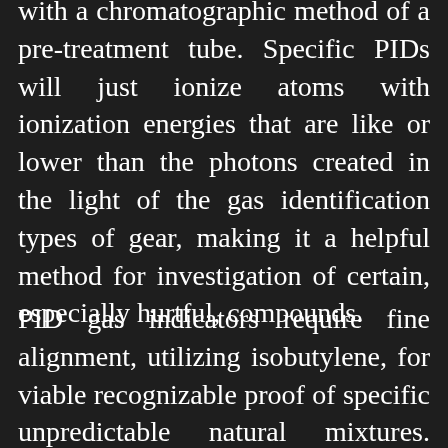with a chromatographic method of a pre-treatment tube. Specific PIDs will just ionize atoms with ionization energies that are like or lower than the photons created in the light of the gas identification types of gear, making it a helpful method for investigation of certain, especially hurtful, compounds.
PID gas indicators require fine alignment, utilizing isobutylene, for viable recognizable proof of specific unpredictable natural mixtures. PIDs ready to distinguish compounds at extremely low fixations and give quick